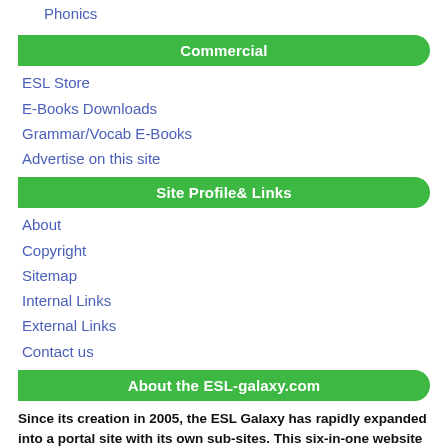Phonics
Commercial
ESL Store
E-Books Downloads
Grammar/Vocab E-Books
Advertise on this site
Site Profile& Links
About
Copyright
Sitemap
Internal Links
External Links
Contact us
About the ESL-galaxy.com
Since its creation in 2005, the ESL Galaxy has rapidly expanded into a portal site with its own sub-sites. This six-in-one website includes : ESLtower.com, English-4kids.com, EnglishMediaLab.com & Download-ESL.com and